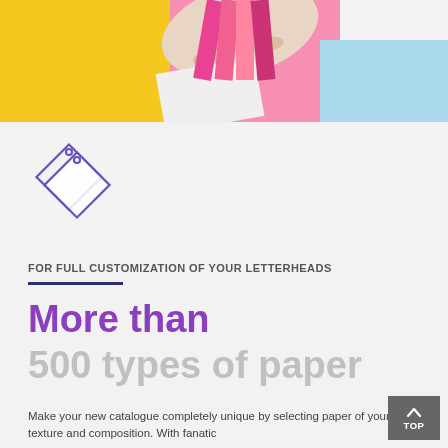[Figure (photo): Hand holding colorful paper swatches in pink, yellow, and blue colors]
[Figure (illustration): Purple line-art icon of two overlapping price tag / diamond-rotated square shapes]
FOR FULL CUSTOMIZATION OF YOUR LETTERHEADS
More than
500 types of paper
Make your new catalogue completely unique by selecting paper of your texture and composition. With fanatic